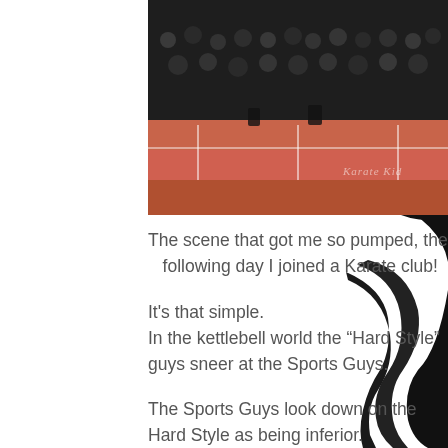[Figure (photo): A karate competition scene from the movie Karate Kid, showing a mat area with orange/red flooring and spectators in the background. Watermark text 'Karate Kid' visible in bottom right.]
The scene that got me so pumped, the following day I joined a Karate club!
It's that simple.
In the kettlebell world the “Hard Style” guys sneer at the Sports Guys.
The Sports Guys look down on the Hard Style as being inferior.
Within the Kettlebell Sports world, those that train under X coach sneer at those that train under Y coach.